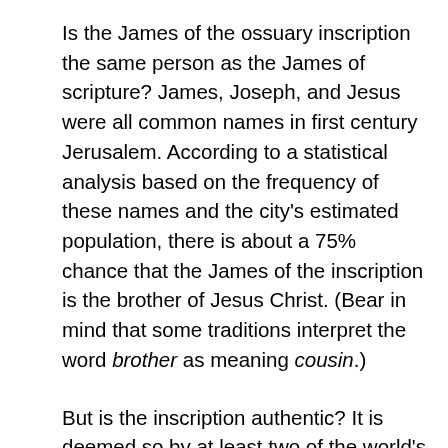Is the James of the ossuary inscription the same person as the James of scripture? James, Joseph, and Jesus were all common names in first century Jerusalem. According to a statistical analysis based on the frequency of these names and the city's estimated population, there is about a 75% chance that the James of the inscription is the brother of Jesus Christ. (Bear in mind that some traditions interpret the word brother as meaning cousin.)
But is the inscription authentic? It is deemed so by at least two of the world's leading paleographers, and no comparable expert has published evidence to the contrary. The ossuary has also passed exacting linguistic and scientific analysis.